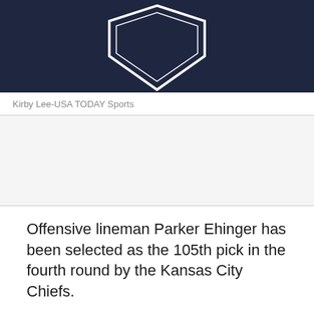[Figure (photo): Close-up of a dark navy blue sports jersey with a white-outlined shield/diamond logo visible at the top center. The fabric texture is clearly visible.]
Kirby Lee-USA TODAY Sports
Offensive lineman Parker Ehinger has been selected as the 105th pick in the fourth round by the Kansas City Chiefs.